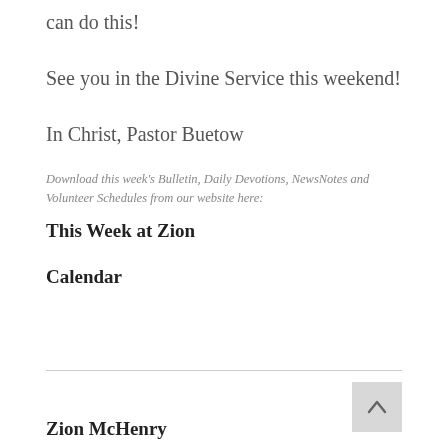can do this!
See you in the Divine Service this weekend!
In Christ, Pastor Buetow
Download this week's Bulletin, Daily Devotions, NewsNotes and Volunteer Schedules from our website here:
This Week at Zion
Calendar
Zion McHenry